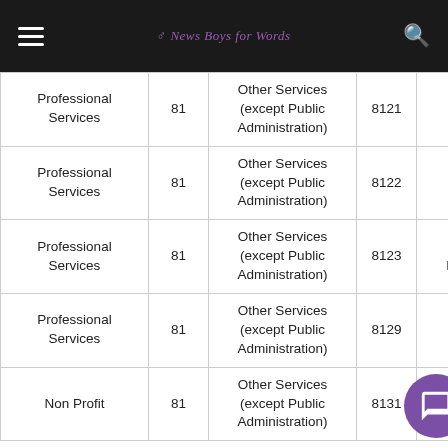News Boys for Words
| Sector | Sector Code | Subsector | Industry Code | Industry |
| --- | --- | --- | --- | --- |
| Professional Services | 81 | Other Services (except Public Administration) | 8121 | Personal Care Services |
| Professional Services | 81 | Other Services (except Public Administration) | 8122 | Death Care Services |
| Professional Services | 81 | Other Services (except Public Administration) | 8123 | Drycleaning and Laundry Services |
| Professional Services | 81 | Other Services (except Public Administration) | 8129 | Other Personal Services |
| Non Profit | 81 | Other Services (except Public Administration) | 8131 | Religious Organizations |